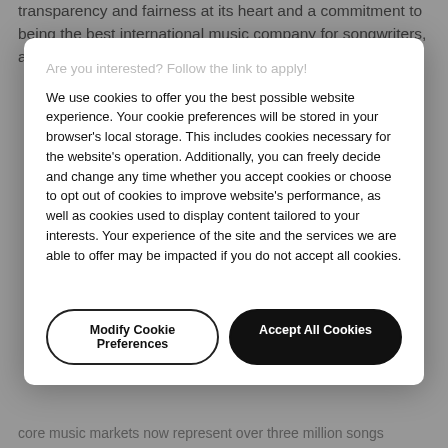transparency and fairness at its heart and a commitment to being the best international music company for songwriters, artists and everyone who works with us.
We use cookies to offer you the best possible website experience. Your cookie preferences will be stored in your browser's local storage. This includes cookies necessary for the website's operation. Additionally, you can freely decide and change any time whether you accept cookies or choose to opt out of cookies to improve website's performance, as well as cookies used to display content tailored to your interests. Your experience of the site and the services we are able to offer may be impacted if you do not accept all cookies.
Modify Cookie Preferences
Accept All Cookies
core music markets now represent over three million songs